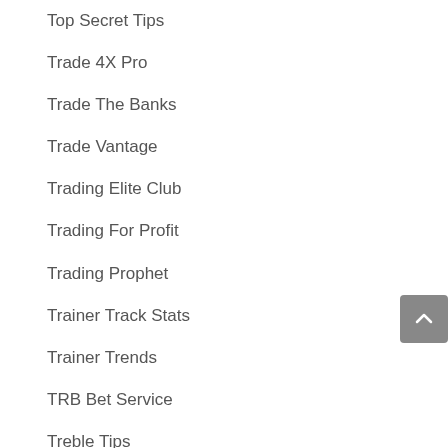Top Secret Tips
Trade 4X Pro
Trade The Banks
Trade Vantage
Trading Elite Club
Trading For Profit
Trading Prophet
Trainer Track Stats
Trainer Trends
TRB Bet Service
Treble Tips
Trend Change Signals
TTT System
Turnaround Trader